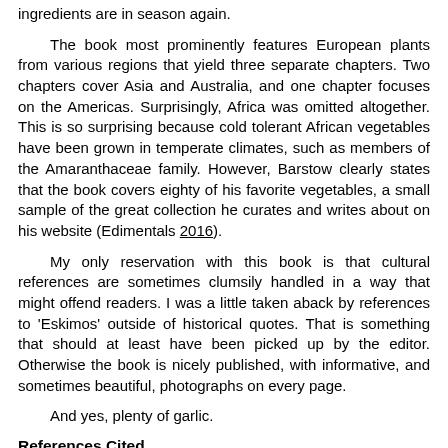ingredients are in season again.
The book most prominently features European plants from various regions that yield three separate chapters. Two chapters cover Asia and Australia, and one chapter focuses on the Americas. Surprisingly, Africa was omitted altogether. This is so surprising because cold tolerant African vegetables have been grown in temperate climates, such as members of the Amaranthaceae family. However, Barstow clearly states that the book covers eighty of his favorite vegetables, a small sample of the great collection he curates and writes about on his website (Edimentals 2016).
My only reservation with this book is that cultural references are sometimes clumsily handled in a way that might offend readers. I was a little taken aback by references to 'Eskimos' outside of historical quotes. That is something that should at least have been picked up by the editor. Otherwise the book is nicely published, with informative, and sometimes beautiful, photographs on every page.
And yes, plenty of garlic.
References Cited
Edimentals. 2016. Available at: http://www.edimentals.com/blog/. Accessed on: February 6, 2016.